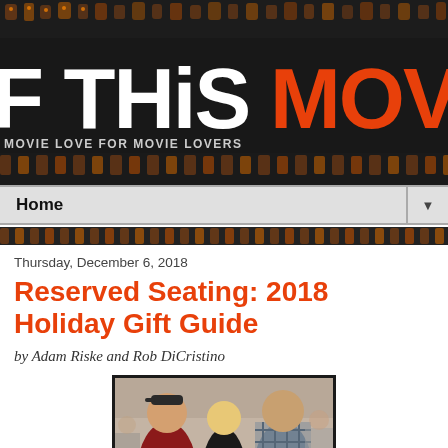[Figure (screenshot): Website header banner showing 'F THIS MOVIE!' logo text in white and orange on black background, with tagline 'MOVIE LOVE FOR MOVIE LOVERS' and decorative icon background]
Home ▼
Thursday, December 6, 2018
Reserved Seating: 2018 Holiday Gift Guide
by Adam Riske and Rob DiCristino
[Figure (photo): Photo of three people standing together in a room — a large man in a red Gryffindor t-shirt and cap on the left, a blonde woman in a black top in the center, and a tall man in a plaid shirt on the right]